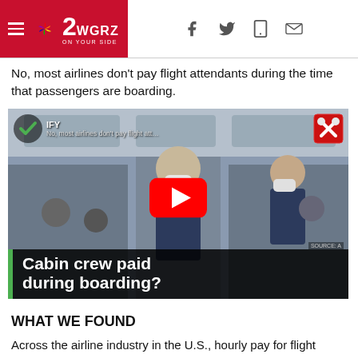2WGRZ ON YOUR SIDE
No, most airlines don't pay flight attendants during the time that passengers are boarding.
[Figure (screenshot): Video thumbnail showing flight attendants on a plane wearing masks. Overlay shows VERIFY check mark and X badge icons, YouTube play button, and caption 'Cabin crew paid during boarding?' with green left bar. Title text reads: No, most airlines don't pay flight att...]
WHAT WE FOUND
Across the airline industry in the U.S., hourly pay for flight